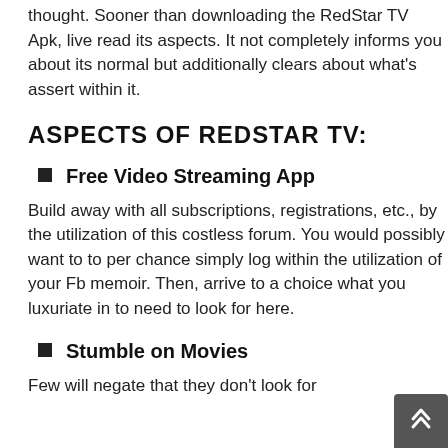thought. Sooner than downloading the RedStar TV Apk, live read its aspects. It not completely informs you about its normal but additionally clears about what's assert within it.
ASPECTS OF REDSTAR TV:
Free Video Streaming App
Build away with all subscriptions, registrations, etc., by the utilization of this costless forum. You would possibly want to to per chance simply log within the utilization of your Fb memoir. Then, arrive to a choice what you luxuriate in to need to look for here.
Stumble on Movies
Few will negate that they don't look for